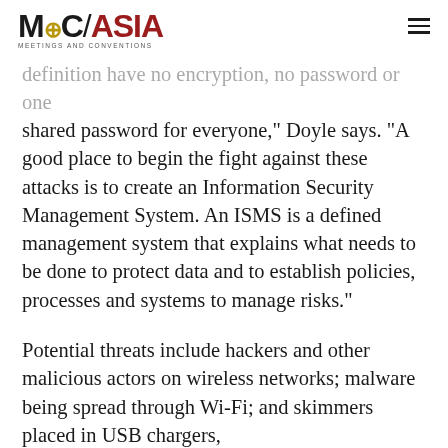MC/ASIA MEETINGS AND CONVENTIONS
definition have no encryption, no password or one shared password for everyone," Doyle says. "A good place to begin the fight against these attacks is to create an Information Security Management System. An ISMS is a defined management system that explains what needs to be done to protect data and to establish policies, processes and systems to manage risks."
Potential threats include hackers and other malicious actors on wireless networks; malware being spread through Wi-Fi; and skimmers placed in USB chargers,